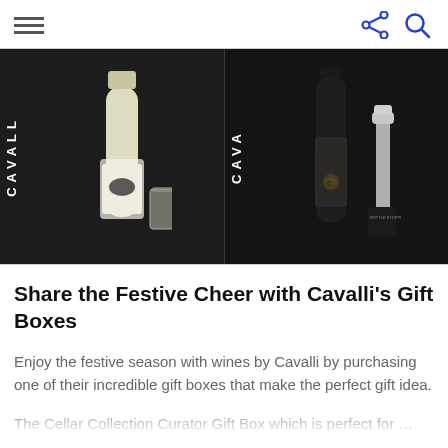Menu | Share | Search
[Figure (photo): Two side-by-side product photos: left shows a white sparkling wine bottle with horse label in front of a black CAVALLI branded tote bag with a candle glass; right shows a dark red wine bottle with gold Cavalli horse medallion label in front of a black CAVALLI tote bag with a silver bottle opener/pourer accessory on the right.]
Share the Festive Cheer with Cavalli’s Gift Boxes
Enjoy the festive season with wines by Cavalli by purchasing one of their incredible gift boxes that make the perfect gift idea. The Cellar Collection Curator Gift Box which is perfect for …